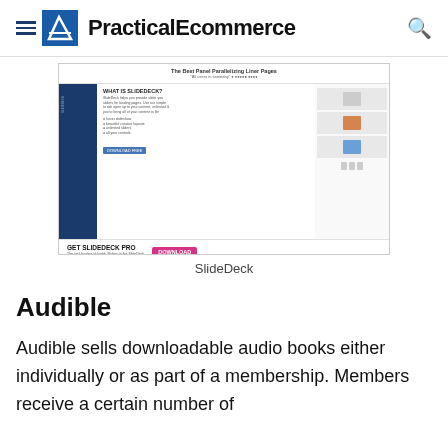PracticalEcommerce
[Figure (screenshot): Screenshot of SlideDeck website showing 'What is SlideDeck?' section and 'Get SlideDeck Pro' download area]
SlideDeck
Audible
Audible sells downloadable audio books either individually or as part of a membership. Members receive a certain number of